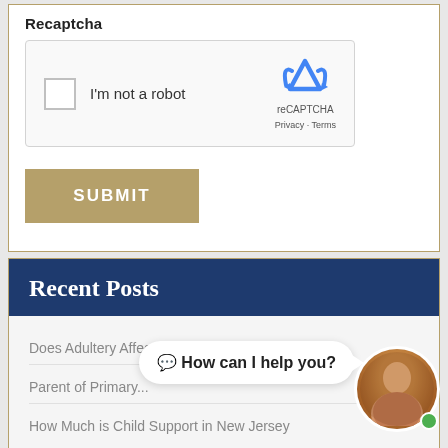Recaptcha
[Figure (screenshot): reCAPTCHA widget with checkbox labeled 'I'm not a robot' and reCAPTCHA logo with Privacy - Terms links]
SUBMIT
Recent Posts
Does Adultery Affect Divorce in NJ
Parent of Primary...
How Much is Child Support in New Jersey
💬 How can I help you?